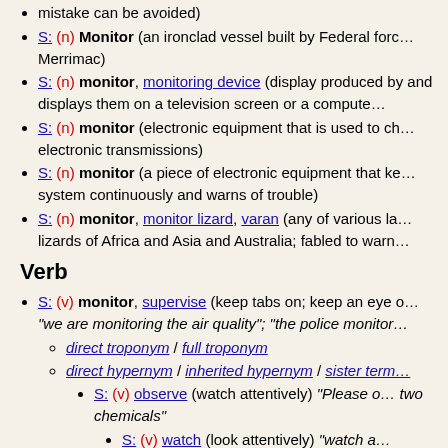S: (n) Monitor (an ironclad vessel built by Federal forces during the American Civil War) mistake can be avoided)
S: (n) monitor, monitoring device (display produced by) and displays them on a television screen or a computer
S: (n) monitor (electronic equipment that is used to ch... electronic transmissions)
S: (n) monitor (a piece of electronic equipment that ke... system continuously and warns of trouble)
S: (n) monitor, monitor lizard, varan (any of various la... lizards of Africa and Asia and Australia; fabled to warn...)
Verb
S: (v) monitor, supervise (keep tabs on; keep an eye ... "we are monitoring the air quality"; "the police monitor...
direct troponym / full troponym
direct hypernym / inherited hypernym / sister term...
S: (v) observe (watch attentively) "Please o... two chemicals"
S: (v) watch (look attentively) "watch a..."
derivationally related form
sentence frame
S: (v) monitor (check, track, or observe by means of a...)